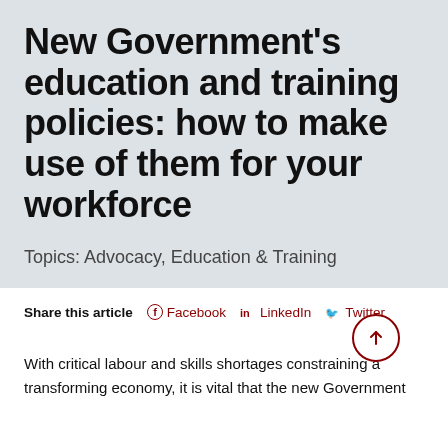New Government's education and training policies: how to make use of them for your workforce
Topics: Advocacy, Education & Training
Share this article  Facebook  LinkedIn  Twitter
With critical labour and skills shortages constraining a transforming economy, it is vital that the new Government